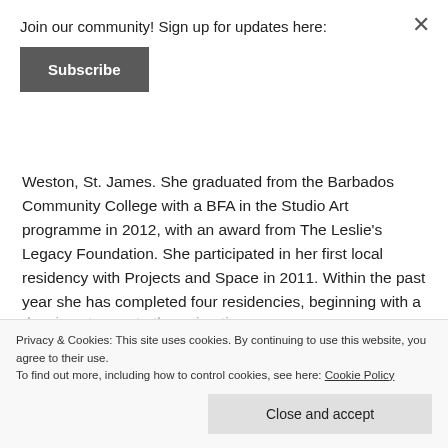Join our community! Sign up for updates here:
Subscribe
Weston, St. James. She graduated from the Barbados Community College with a BFA in the Studio Art programme in 2012, with an award from The Leslie’s Legacy Foundation. She participated in her first local residency with Projects and Space in 2011. Within the past year she has completed four residencies, beginning with a local residency at Fresh Milk, followed by her first international residency at the Vermont Studio Center, and two regional residencies
Privacy & Cookies: This site uses cookies. By continuing to use this website, you agree to their use.
To find out more, including how to control cookies, see here: Cookie Policy
Close and accept
drawings to create the animations.